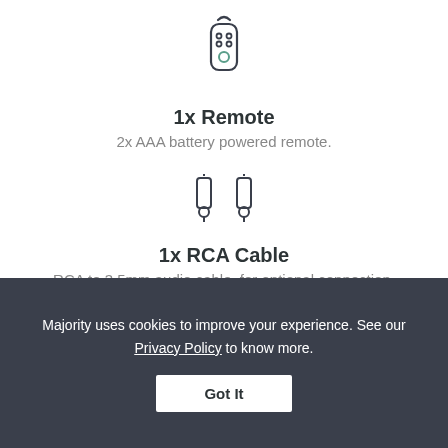[Figure (illustration): Remote control icon — outline drawing of a remote with signal waves and buttons]
1x Remote
2x AAA battery powered remote.
[Figure (illustration): RCA cable connectors icon — two RCA plug outlines side by side]
1x RCA Cable
RCA to 3.5mm audio cable, for optional connection.
[Figure (illustration): Partially visible USB or connector icon at bottom of white section]
Majority uses cookies to improve your experience. See our Privacy Policy to know more.
Got It